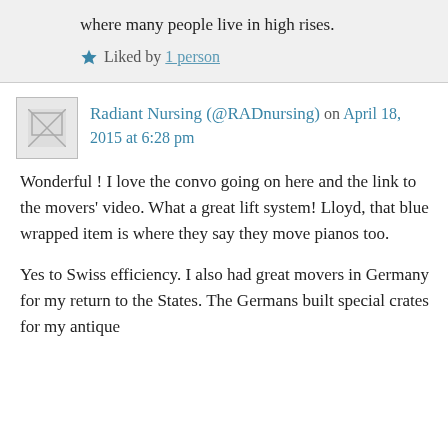where many people live in high rises.
Liked by 1 person
Radiant Nursing (@RADnursing) on April 18, 2015 at 6:28 pm
Wonderful ! I love the convo going on here and the link to the movers' video. What a great lift system! Lloyd, that blue wrapped item is where they say they move pianos too.
Yes to Swiss efficiency. I also had great movers in Germany for my return to the States. The Germans built special crates for my antique